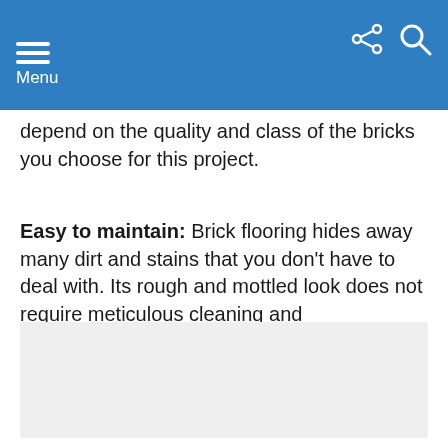Menu
depend on the quality and class of the bricks you choose for this project.
Easy to maintain: Brick flooring hides away many dirt and stains that you don't have to deal with. Its rough and mottled look does not require meticulous cleaning and maintenance.
[Figure (other): Light gray placeholder image area]